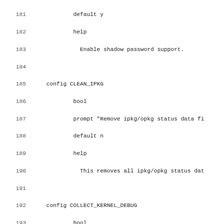Source code / Kconfig file lines 181-212, showing Linux kernel configuration entries for shadow password support, CLEAN_IPKG, COLLECT_KERNEL_DEBUG, KERNEL_DEBUG_FS, and KERNEL_PERF_EVENTS config blocks.